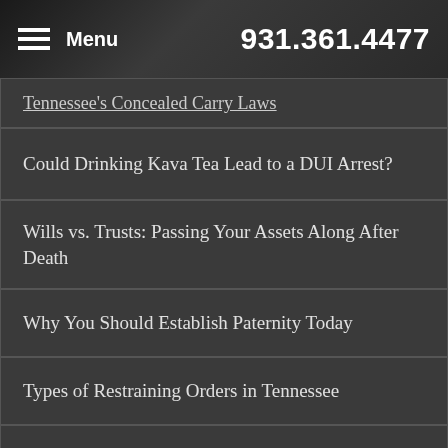Menu  931.361.4477
Tennessee's Concealed Carry Laws
Could Drinking Kava Tea Lead to a DUI Arrest?
Wills vs. Trusts: Passing Your Assets Along After Death
Why You Should Establish Paternity Today
Types of Restraining Orders in Tennessee
3 Effective Defenses Against Assault and Battery
I've Been Accused of Drug Possession. Now